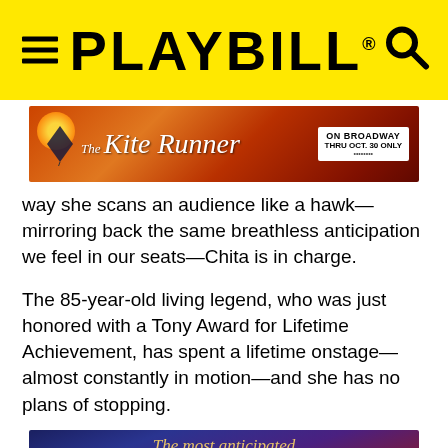PLAYBILL
[Figure (illustration): The Kite Runner advertisement banner: ON BROADWAY THRU OCT. 30 ONLY]
way she scans an audience like a hawk—mirroring back the same breathless anticipation we feel in our seats—Chita is in charge.
The 85-year-old living legend, who was just honored with a Tony Award for Lifetime Achievement, has spent a lifetime onstage—almost constantly in motion—and she has no plans of stopping.
[Figure (illustration): Advertisement: The most anticipated BROADWAY PLAY OF THE SEASON has arrived!]